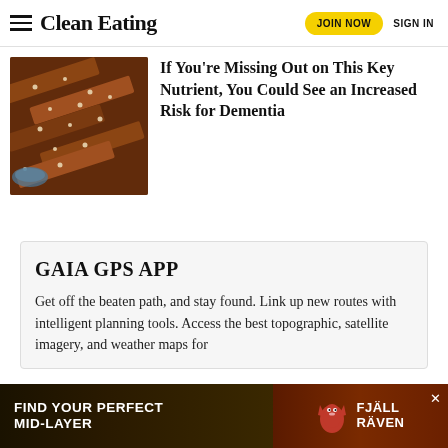Clean Eating | JOIN NOW | SIGN IN
[Figure (photo): Chocolate nut bars arranged on a surface, viewed from above]
If You're Missing Out on This Key Nutrient, You Could See an Increased Risk for Dementia
GAIA GPS APP
Get off the beaten path, and stay found. Link up new routes with intelligent planning tools. Access the best topographic, satellite imagery, and weather maps for
[Figure (infographic): Bottom banner advertisement: FIND YOUR PERFECT MID-LAYER with Fjäll Räven logo]